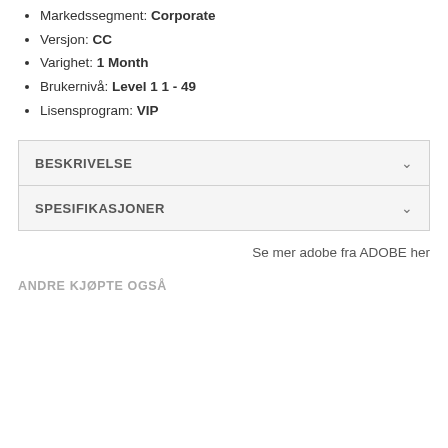Markedssegment: Corporate
Versjon: CC
Varighet: 1 Month
Brukernivå: Level 1 1 - 49
Lisensprogram: VIP
BESKRIVELSE
SPESIFIKASJONER
Se mer adobe fra ADOBE her
ANDRE KJØPTE OGSÅ